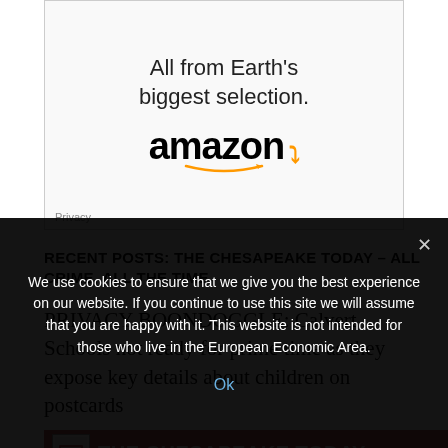[Figure (screenshot): Amazon advertisement showing 'All from Earth's biggest selection.' with Amazon logo and orange smile arrow]
RECENT POSTS: THE CHESAPEAKE TODAY – ALL CRIME, ALL THE TIME
PRIVACY BOONDOGGLE: Calvert Schools not ready for prime time as they expose key details about children on postcards
[Figure (screenshot): The Chesapeake Today banner with logo icon and red/rose background]
We use cookies to ensure that we give you the best experience on our website. If you continue to use this site we will assume that you are happy with it. This website is not intended for those who live in the European Economic Area.
Ok